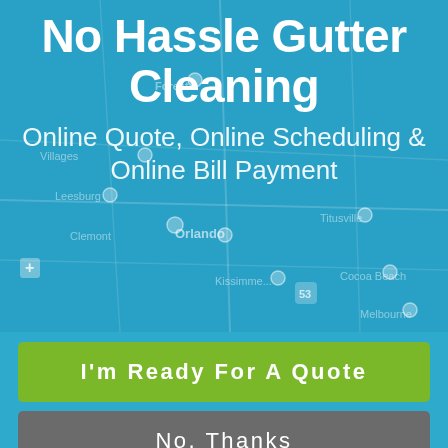No Hassle Gutter Cleaning
Online Quote, Online Scheduling & Online Bill Payment
[Figure (map): Background map showing central Florida area with location pins and city names including Forest, Villages, Leesburg, Clemont, Orlando, Titusville, Kissimmee, Cocoa Beach, Melbourne]
I'm Ready For A Quote
No, Thanks